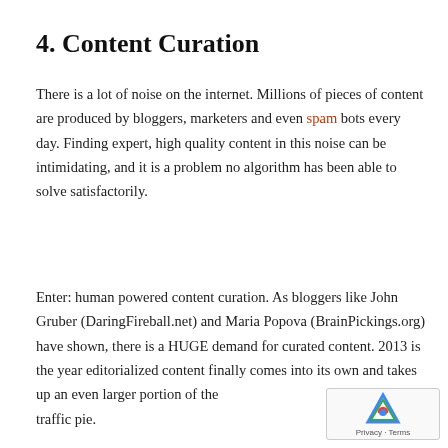4. Content Curation
There is a lot of noise on the internet. Millions of pieces of content are produced by bloggers, marketers and even spam bots every day. Finding expert, high quality content in this noise can be intimidating, and it is a problem no algorithm has been able to solve satisfactorily.
Enter: human powered content curation. As bloggers like John Gruber (DaringFireball.net) and Maria Popova (BrainPickings.org) have shown, there is a HUGE demand for curated content. 2013 is the year editorialized content finally comes into its own and takes up an even larger portion of the traffic pie.